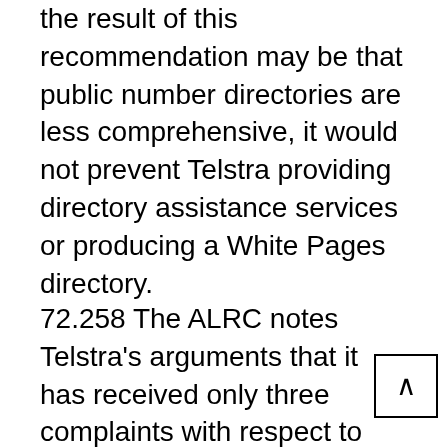the result of this recommendation may be that public number directories are less comprehensive, it would not prevent Telstra providing directory assistance services or producing a White Pages directory.
72.258 The ALRC notes Telstra's arguments that it has received only three complaints with respect to the existence of a charge for silent lines, and that Telstra cites this as supporting the view that customers don't believe that the charge is